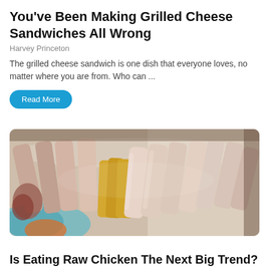You've Been Making Grilled Cheese Sandwiches All Wrong
Harvey Princeton
The grilled cheese sandwich is one dish that everyone loves, no matter where you are from. Who can ...
Read More
[Figure (photo): Raw chicken pieces arranged on a decorative plate, some pieces seasoned with spices, on a blue and white patterned dish.]
Is Eating Raw Chicken The Next Big Trend?